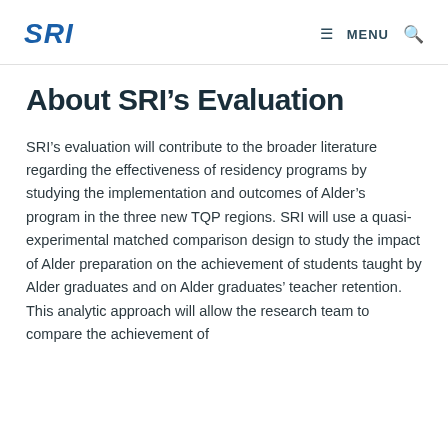SRI  MENU
About SRI’s Evaluation
SRI’s evaluation will contribute to the broader literature regarding the effectiveness of residency programs by studying the implementation and outcomes of Alder’s program in the three new TQP regions. SRI will use a quasi-experimental matched comparison design to study the impact of Alder preparation on the achievement of students taught by Alder graduates and on Alder graduates’ teacher retention. This analytic approach will allow the research team to compare the achievement of